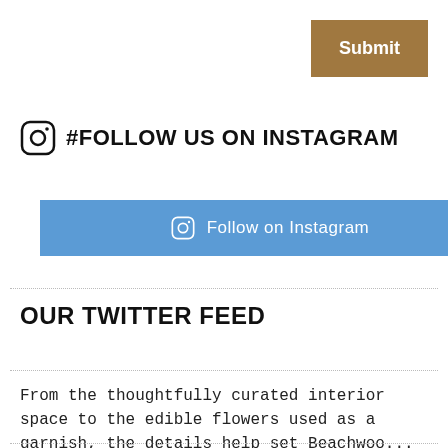[Figure (other): Submit button — brown/tan rectangular button with white bold text 'Submit' in upper right corner]
#FOLLOW US ON INSTAGRAM
[Figure (other): Blue rounded rectangle button with Instagram camera icon and text 'Follow on Instagram']
OUR TWITTER FEED
From the thoughtfully curated interior space to the edible flowers used as a garnish, the details help set Beachwoo... https://t.co/EvOSco995C
Morgan Auto Group has acquired three